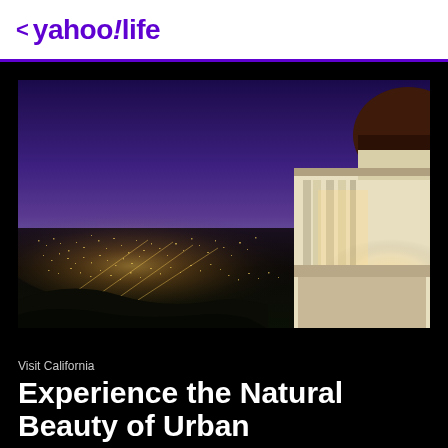< yahoo!life
[Figure (photo): Night aerial view of Los Angeles city lights with Griffith Observatory building on the right side, shot at dusk with deep blue-purple sky]
Visit California
Experience the Natural Beauty of Urban